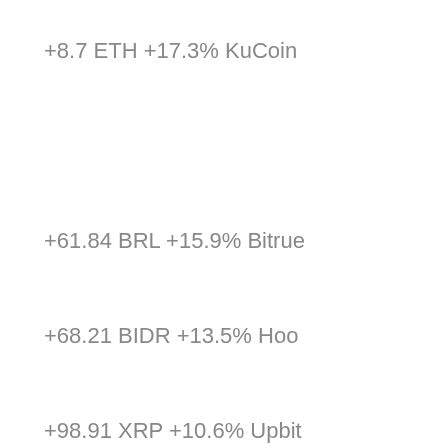+8.7 ETH +17.3% KuCoin
+61.84 BRL +15.9% Bitrue
+68.21 BIDR +13.5% Hoo
+98.91 XRP +10.6% Upbit
+95.78 NEN +4.8% Coinbase Pro
+36.74 MIOTA +5.6% BtcTurk